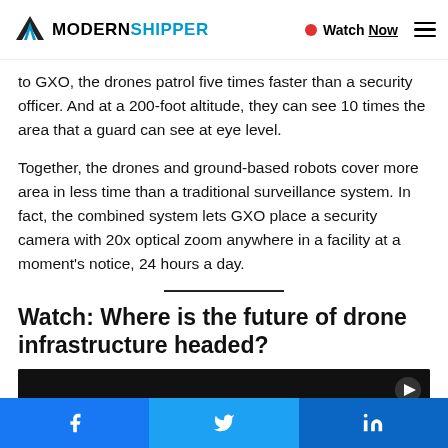MODERN SHIPPER | Watch Now
to GXO, the drones patrol five times faster than a security officer. And at a 200-foot altitude, they can see 10 times the area that a guard can see at eye level.
Together, the drones and ground-based robots cover more area in less time than a traditional surveillance system. In fact, the combined system lets GXO place a security camera with 20x optical zoom anywhere in a facility at a moment's notice, 24 hours a day.
Watch: Where is the future of drone infrastructure headed?
[Figure (screenshot): Dark video thumbnail at the bottom of the content area]
Facebook share | Twitter share | LinkedIn share